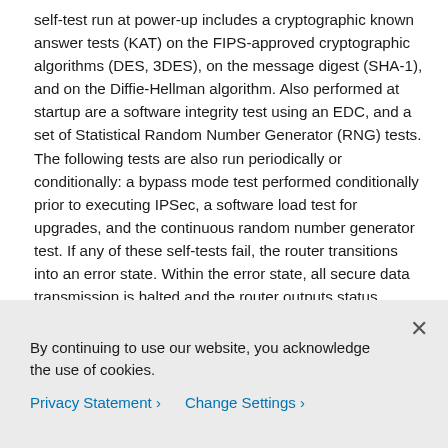self-test run at power-up includes a cryptographic known answer tests (KAT) on the FIPS-approved cryptographic algorithms (DES, 3DES), on the message digest (SHA-1), and on the Diffie-Hellman algorithm. Also performed at startup are a software integrity test using an EDC, and a set of Statistical Random Number Generator (RNG) tests. The following tests are also run periodically or conditionally: a bypass mode test performed conditionally prior to executing IPSec, a software load test for upgrades, and the continuous random number generator test. If any of these self-tests fail, the router transitions into an error state. Within the error state, all secure data transmission is halted and the router outputs status information indicating the failure.
Secure Operation of the Cisco 7206 VXR NPE-400 Router
By continuing to use our website, you acknowledge the use of cookies.
Privacy Statement > Change Settings >